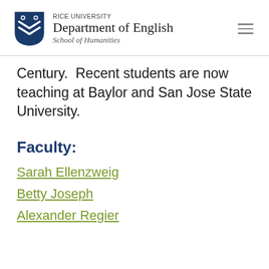RICE UNIVERSITY Department of English School of Humanities
Century.  Recent students are now teaching at Baylor and San Jose State University.
Faculty:
Sarah Ellenzweig
Betty Joseph
Alexander Regier